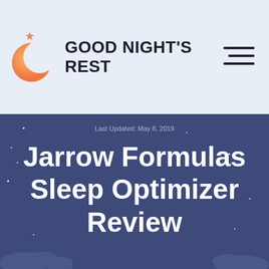[Figure (logo): Good Night's Rest website logo with crescent moon and stars icon on light blue background, with hamburger menu icon]
Last Updated: May 8, 2019
Jarrow Formulas Sleep Optimizer Review